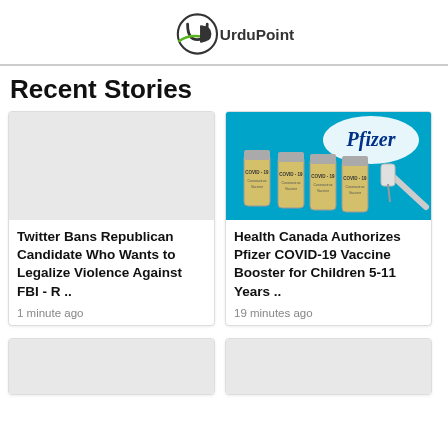[Figure (logo): UrduPoint logo with green and dark circular emblem and 'UrduPoint' text]
Recent Stories
[Figure (photo): Gray placeholder image for Twitter story]
Twitter Bans Republican Candidate Who Wants to Legalize Violence Against FBI - R ..
1 minute ago
[Figure (photo): Pfizer COVID-19 vaccine bottles on blue background with Pfizer logo and syringe]
Health Canada Authorizes Pfizer COVID-19 Vaccine Booster for Children 5-11 Years ..
19 minutes ago
[Figure (photo): Gray placeholder image for third story]
[Figure (photo): Gray placeholder image for fourth story]